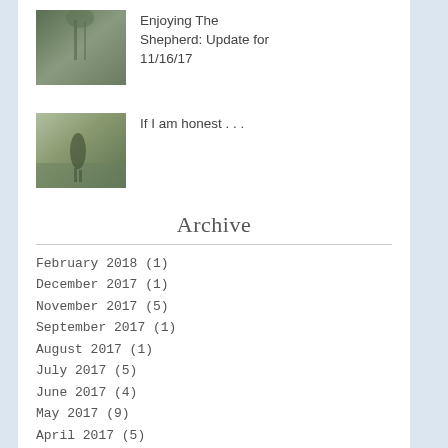[Figure (photo): Photo of people walking down a dirt path through trees]
Enjoying The Shepherd: Update for 11/16/17
[Figure (photo): Photo of a person in a field]
If I am honest . . .
Archive
February 2018 (1)
December 2017 (1)
November 2017 (5)
September 2017 (1)
August 2017 (1)
July 2017 (5)
June 2017 (4)
May 2017 (9)
April 2017 (5)
March 2017 (9)
February 2017 (5)
January 2017 (3)